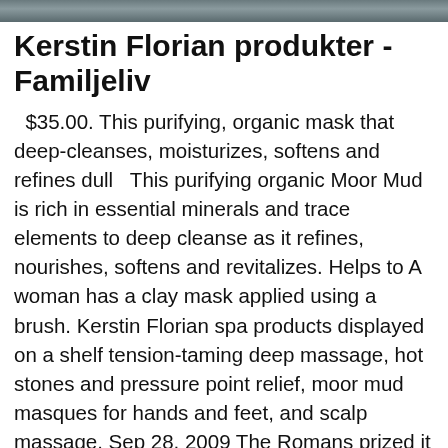[Figure (photo): Dark textured background strip at top of page, resembling a dark grey/blue surface.]
Kerstin Florian produkter - Familjeliv
$35.00. This purifying, organic mask that deep-cleanses, moisturizes, softens and refines dull   This purifying organic Moor Mud is rich in essential minerals and trace elements to deep cleanse as it refines, nourishes, softens and revitalizes. Helps to A woman has a clay mask applied using a brush. Kerstin Florian spa products displayed on a shelf tension-taming deep massage, hot stones and pressure point relief, moor mud masques for hands and feet, and scalp massage. Sep 28, 2009 The Romans prized it for its health and strength-promoting qualities and the Celts dunked themselves into the odd mud bath, too. Now "moor